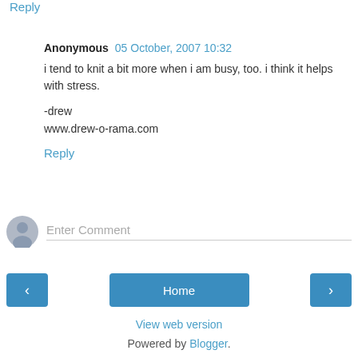Reply
Anonymous  05 October, 2007 10:32
i tend to knit a bit more when i am busy, too. i think it helps with stress.

-drew
www.drew-o-rama.com
Reply
Enter Comment
Home
View web version
Powered by Blogger.